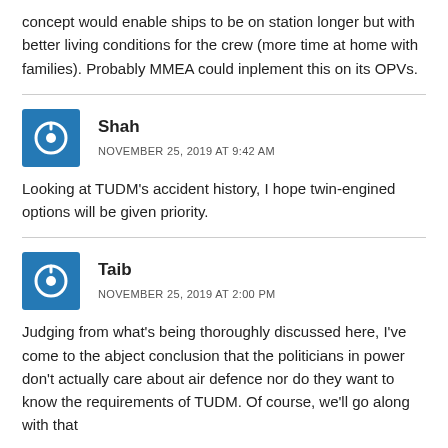concept would enable ships to be on station longer but with better living conditions for the crew (more time at home with families). Probably MMEA could inplement this on its OPVs.
Shah
NOVEMBER 25, 2019 AT 9:42 AM
Looking at TUDM's accident history, I hope twin-engined options will be given priority.
Taib
NOVEMBER 25, 2019 AT 2:00 PM
Judging from what's being thoroughly discussed here, I've come to the abject conclusion that the politicians in power don't actually care about air defence nor do they want to know the requirements of TUDM. Of course, we'll go along with that